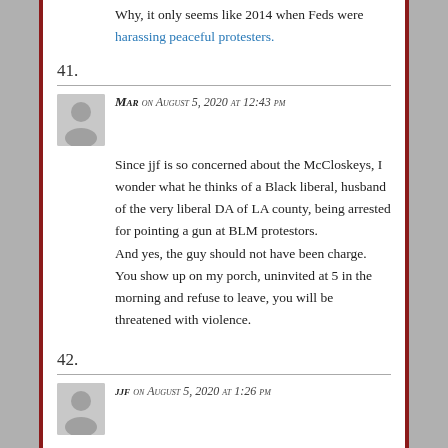Why, it only seems like 2014 when Feds were harassing peaceful protesters.
41.
Mar on August 5, 2020 at 12:43 pm
Since jjf is so concerned about the McCloskeys, I wonder what he thinks of a Black liberal, husband of the very liberal DA of LA county, being arrested for pointing a gun at BLM protestors.
And yes, the guy should not have been charge. You show up on my porch, uninvited at 5 in the morning and refuse to leave, you will be threatened with violence.
42.
jjf on August 5, 2020 at 1:26 pm